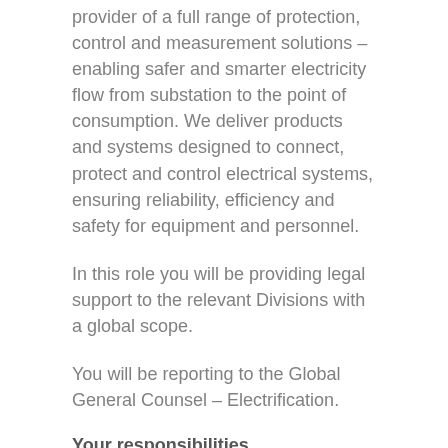provider of a full range of protection, control and measurement solutions – enabling safer and smarter electricity flow from substation to the point of consumption. We deliver products and systems designed to connect, protect and control electrical systems, ensuring reliability, efficiency and safety for equipment and personnel.
In this role you will be providing legal support to the relevant Divisions with a global scope.
You will be reporting to the Global General Counsel – Electrification.
Your responsibilities
Representing Legal and Integrity (L&I) in the Division Management Team of the two Divisions and providing strategic legal